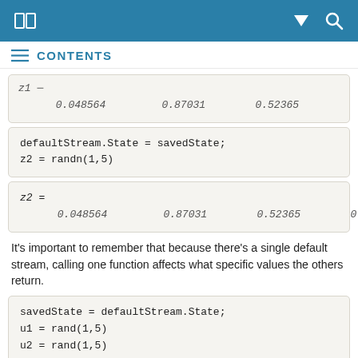[ ] [ ]   ▼   🔍
≡  CONTENTS
| z1 |  |  |  |  |
| --- | --- | --- | --- | --- |
|  | 0.048564 | 0.87031 | 0.52365 | 0.0956 |
defaultStream.State = savedState;
z2 = randn(1,5)
| z2 = |  |  |  |  |
| --- | --- | --- | --- | --- |
|  | 0.048564 | 0.87031 | 0.52365 | 0.0956 |
It's important to remember that because there's a single default stream, calling one function affects what specific values the others return.
savedState = defaultStream.State;
u1 = rand(1,5)
u2 = rand(1,5)